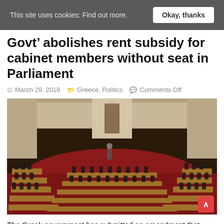This site uses cookies: Find out more.  Okay, thanks
Govt’ abolishes rent subsidy for cabinet members without seat in Parliament
○ March 29, 2018   📁 Greece, Politics   💬 Comments Off
[Figure (photo): Interior view of the Greek Parliament chamber filled with seated members, red carpet, wooden desks arranged in a semicircle. A scroll-to-top button (red, with caret) is visible in the bottom-right corner of the image.]
The Greek government has submitted an amendment that